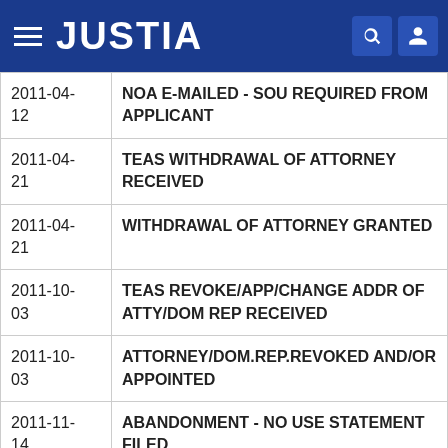JUSTIA
| Date | Description |
| --- | --- |
| 2011-04-12 | NOA E-MAILED - SOU REQUIRED FROM APPLICANT |
| 2011-04-21 | TEAS WITHDRAWAL OF ATTORNEY RECEIVED |
| 2011-04-21 | WITHDRAWAL OF ATTORNEY GRANTED |
| 2011-10-03 | TEAS REVOKE/APP/CHANGE ADDR OF ATTY/DOM REP RECEIVED |
| 2011-10-03 | ATTORNEY/DOM.REP.REVOKED AND/OR APPOINTED |
| 2011-11-14 | ABANDONMENT - NO USE STATEMENT FILED |
| 2011-11-14 | ABANDONMENT NOTICE MAILED - NO USE STATEMENT FILED |
| 2011-12-... | TEAS PETITION TO REVIVE RECEIVED |